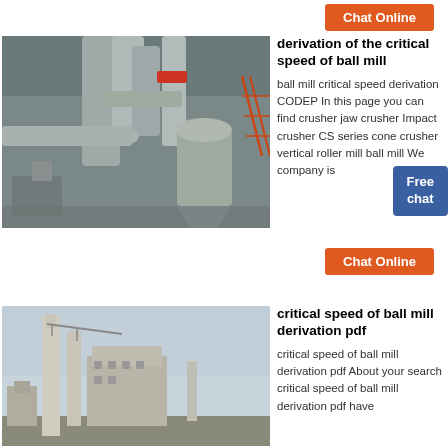Chat Online
derivation of the critical speed of ball mill
[Figure (photo): Industrial ball mill facility with large pipes and dust collection equipment in a factory setting]
ball mill critical speed derivation CODEP In this page you can find crusher jaw crusher Impact crusher CS series cone crusher vertical roller mill ball mill We company is
Free chat
Chat Online
critical speed of ball mill derivation pdf
[Figure (photo): Large cement plant or industrial facility with tall chimney stacks and crane structures against a sky background]
critical speed of ball mill derivation pdf About your search critical speed of ball mill derivation pdf have